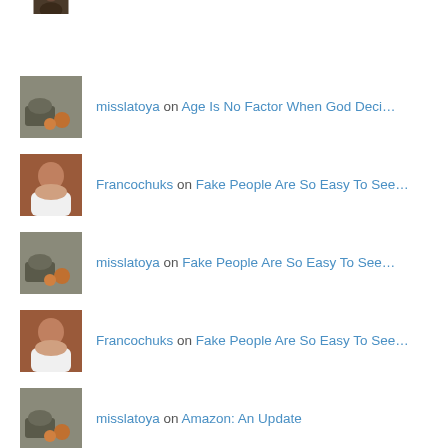misslatoya on Age Is No Factor When God Deci…
Francochuks on Fake People Are So Easy To See…
misslatoya on Fake People Are So Easy To See…
Francochuks on Fake People Are So Easy To See…
misslatoya on Amazon: An Update
Topics
Ancestors  Assholes  Caul  Character